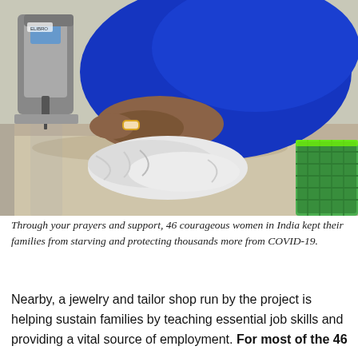[Figure (photo): A woman wearing a blue sari and gold watch sewing fabric on an industrial sewing machine at a workbench. White cloth face masks are piled on the table in front of her. A green basket is visible on the right.]
Through your prayers and support, 46 courageous women in India kept their families from starving and protecting thousands more from COVID-19.
Nearby, a jewelry and tailor shop run by the project is helping sustain families by teaching essential job skills and providing a vital source of employment. For most of the 46